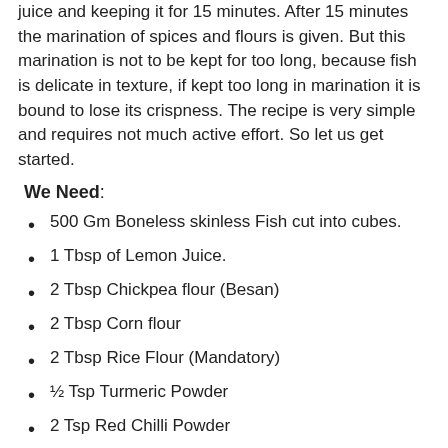juice and keeping it for 15 minutes. After 15 minutes the marination of spices and flours is given. But this marination is not to be kept for too long, because fish is delicate in texture, if kept too long in marination it is bound to lose its crispness. The recipe is very simple and requires not much active effort. So let us get started.
We Need:
500 Gm Boneless skinless Fish cut into cubes.
1 Tbsp of Lemon Juice.
2 Tbsp Chickpea flour (Besan)
2 Tbsp Corn flour
2 Tbsp Rice Flour (Mandatory)
½ Tsp Turmeric Powder
2 Tsp Red Chilli Powder
1 Tbsp Carom seeds (Ajwain)